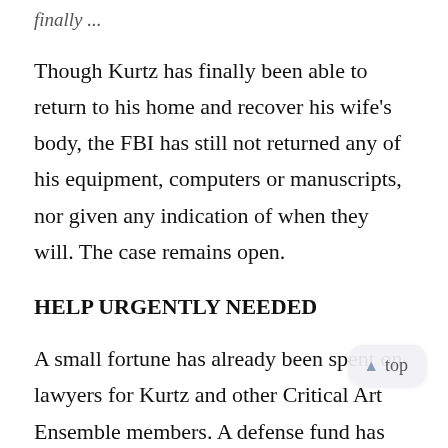Finally, ...
Though Kurtz has finally been able to return to his home and recover his wife's body, the FBI has still not returned any of his equipment, computers or manuscripts, nor given any indication of when they will. The case remains open.
HELP URGENTLY NEEDED
A small fortune has already been spent on lawyers for Kurtz and other Critical Art Ensemble members. A defense fund has been established at http://www.rtmark.com/CAEdefense/ to help